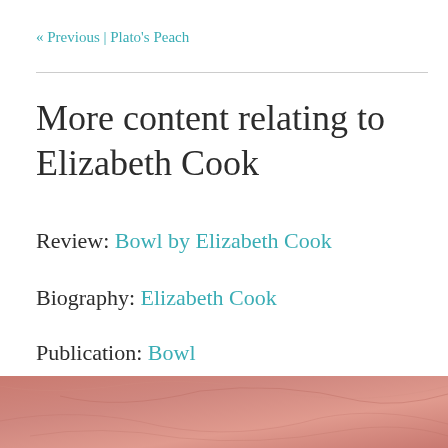« Previous | Plato's Peach
More content relating to Elizabeth Cook
Review: Bowl by Elizabeth Cook
Biography: Elizabeth Cook
Publication: Bowl
[Figure (photo): Close-up photograph of a peach surface with soft pink and salmon tones]